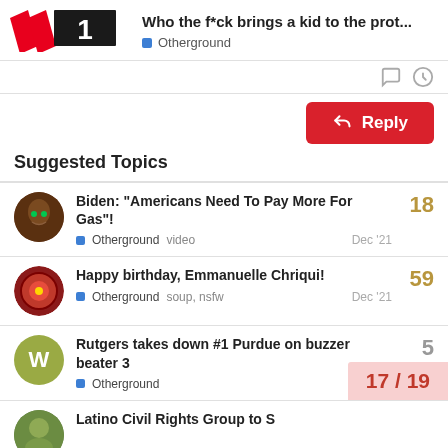Who the f*ck brings a kid to the prot... | Otherground | MMA Underground
Suggested Topics
Biden: "Americans Need To Pay More For Gas"! — Otherground, video — Dec '21 — 18 replies
Happy birthday, Emmanuelle Chriqui! — Otherground, soup, nsfw — Dec '21 — 59 replies
Rutgers takes down #1 Purdue on buzzer beater 3 — Otherground — Dec '21 — 5 replies
Latino Civil Rights Group to S...
17 / 19